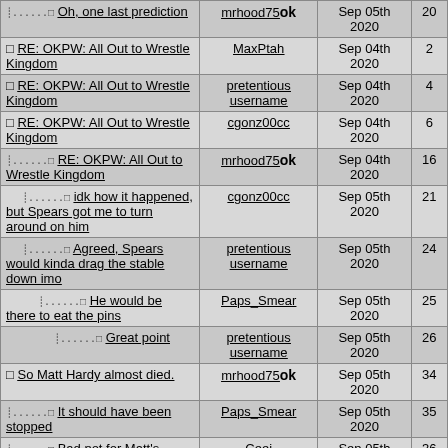| Title | Author | Date | # |
| --- | --- | --- | --- |
| ↳ Oh, one last prediction | mrhood75 ok | Sep 05th 2020 | 20 |
| RE: OKPW: All Out to Wrestle Kingdom | MaxPtah | Sep 04th 2020 | 2 |
| RE: OKPW: All Out to Wrestle Kingdom | pretentious username | Sep 04th 2020 | 4 |
| RE: OKPW: All Out to Wrestle Kingdom | cgonz00cc | Sep 04th 2020 | 6 |
| ↳ RE: OKPW: All Out to Wrestle Kingdom | mrhood75 ok | Sep 04th 2020 | 16 |
| ↳↳ idk how it happened, but Spears got me to turn around on him | cgonz00cc | Sep 05th 2020 | 21 |
| ↳↳ Agreed, Spears would kinda drag the stable down imo | pretentious username | Sep 05th 2020 | 24 |
| ↳↳↳ He would be there to eat the pins | Paps_Smear | Sep 05th 2020 | 25 |
| ↳↳↳↳ Great point | pretentious username | Sep 05th 2020 | 26 |
| So Matt Hardy almost died. | mrhood75 ok | Sep 05th 2020 | 34 |
| ↳ It should have been stopped | Paps_Smear | Sep 05th 2020 | 35 |
| ↳ Bad not for Matt's | Ceej | Sep 05th 2020 | 36 |
| ↳ So... I think it was an intentionally botched spot | pretentious username | Sep 05th 2020 | 37 |